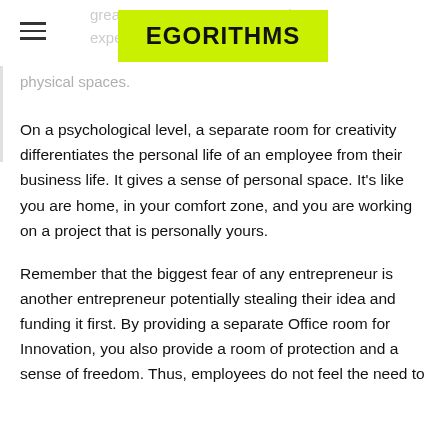EGORITHMS
great way to ... tunity to experiment ... e separate physical spaces.
On a psychological level, a separate room for creativity differentiates the personal life of an employee from their business life. It gives a sense of personal space. It's like you are home, in your comfort zone, and you are working on a project that is personally yours.
Remember that the biggest fear of any entrepreneur is another entrepreneur potentially stealing their idea and funding it first. By providing a separate Office room for Innovation, you also provide a room of protection and a sense of freedom. Thus, employees do not feel the need to